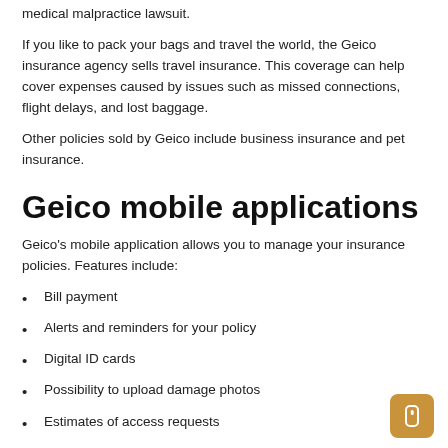medical malpractice lawsuit.
If you like to pack your bags and travel the world, the Geico insurance agency sells travel insurance. This coverage can help cover expenses caused by issues such as missed connections, flight delays, and lost baggage.
Other policies sold by Geico include business insurance and pet insurance.
Geico mobile applications
Geico’s mobile application allows you to manage your insurance policies. Features include:
Bill payment
Alerts and reminders for your policy
Digital ID cards
Possibility to upload damage photos
Estimates of access requests